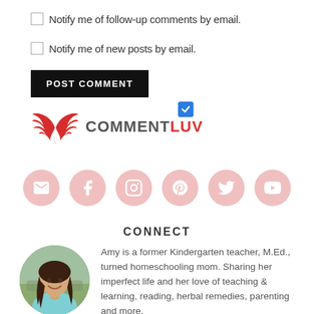Notify me of follow-up comments by email.
Notify me of new posts by email.
POST COMMENT
[Figure (other): CommentLuv logo with red wing icon and COMMENTLUV text (COMMENT in gray, LUV in red), with a blue checked checkbox to the right]
[Figure (other): Row of 6 social media icon circles (email, Facebook, Instagram, Pinterest, Twitter, YouTube) in pink/salmon color]
CONNECT
[Figure (photo): Circular portrait photo of Amy, a woman with long dark hair wearing a light blue top, smiling outdoors]
Amy is a former Kindergarten teacher, M.Ed., turned homeschooling mom. Sharing her imperfect life and her love of teaching & learning, reading, herbal remedies, parenting and more.
Read More →